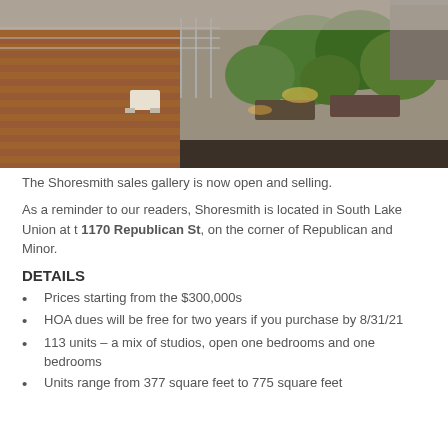[Figure (photo): Aerial/overhead view of a rooftop terrace with wood decking, modern outdoor furniture, planters with trees and greenery, and railing, surrounded by adjacent building rooftops.]
The Shoresmith sales gallery is now open and selling.
As a reminder to our readers, Shoresmith is located in South Lake Union at t 1170 Republican St, on the corner of Republican and Minor.
DETAILS
Prices starting from the $300,000s
HOA dues will be free for two years if you purchase by 8/31/21
113 units – a mix of studios, open one bedrooms and one bedrooms
Units range from 377 square feet to 775 square feet